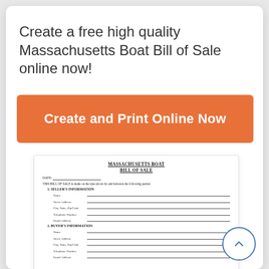Create a free high quality Massachusetts Boat Bill of Sale online now!
Create and Print Online Now
[Figure (other): Preview thumbnail of Massachusetts Boat Bill of Sale form showing title, date field, seller information section, and buyer information section with blank fill-in lines]